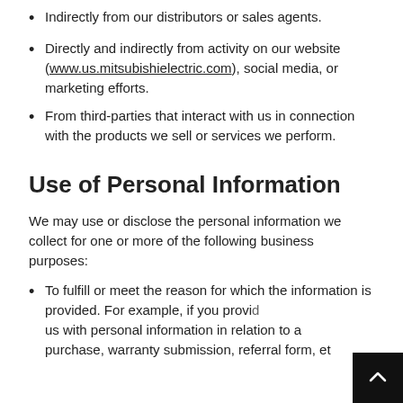Indirectly from our distributors or sales agents.
Directly and indirectly from activity on our website (www.us.mitsubishielectric.com), social media, or marketing efforts.
From third-parties that interact with us in connection with the products we sell or services we perform.
Use of Personal Information
We may use or disclose the personal information we collect for one or more of the following business purposes:
To fulfill or meet the reason for which the information is provided. For example, if you provide us with personal information in relation to a purchase, warranty submission, referral form, et